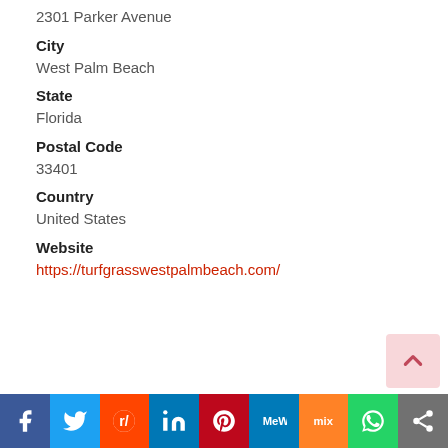2301 Parker Avenue
City
West Palm Beach
State
Florida
Postal Code
33401
Country
United States
Website
https://turfgrasswestpalmbeach.com/
[Figure (infographic): Social sharing bar with icons: Facebook, Twitter, Reddit, LinkedIn, Pinterest, MeWe, Mix, WhatsApp, Share]